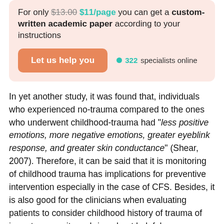For only $13.00 $11/page you can get a custom-written academic paper according to your instructions
[Figure (other): Promotional call-to-action box with orange 'Let us help you' button and teal '322 specialists online' indicator]
In yet another study, it was found that, individuals who experienced no-trauma compared to the ones who underwent childhood-trauma had "less positive emotions, more negative emotions, greater eyeblink response, and greater skin conductance" (Shear, 2007). Therefore, it can be said that it is monitoring of childhood trauma has implications for preventive intervention especially in the case of CFS. Besides, it is also good for the clinicians when evaluating patients to consider childhood history of trauma of importance as it can bring about helpful [process].
[Figure (other): Teal 'Free price quote for your paper →' button at the bottom]